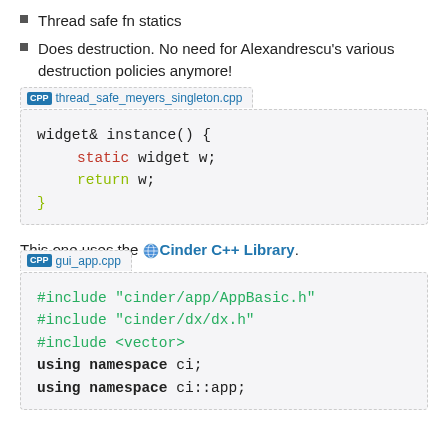Thread safe fn statics
Does destruction. No need for Alexandrescu's various destruction policies anymore!
[Figure (screenshot): Code block with filename tab 'thread_safe_meyers_singleton.cpp' showing C++ code: widget& instance() { static widget w; return w; }]
This one uses the 🌐 Cinder C++ Library.
[Figure (screenshot): Code block with filename tab 'gui_app.cpp' showing C++ code with #include statements and using namespace declarations]